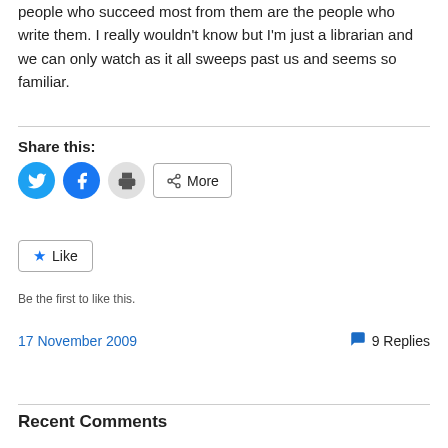people who succeed most from them are the people who write them. I really wouldn't know but I'm just a librarian and we can only watch as it all sweeps past us and seems so familiar.
Share this:
[Figure (other): Social share buttons: Twitter (blue circle), Facebook (blue circle), Print (grey circle), More (outlined button with share icon)]
[Figure (other): Like button with star icon]
Be the first to like this.
17 November 2009
9 Replies
Recent Comments